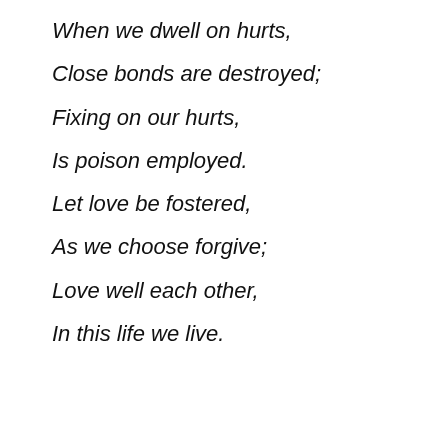When we dwell on hurts,
Close bonds are destroyed;
Fixing on our hurts,
Is poison employed.
Let love be fostered,
As we choose forgive;
Love well each other,
In this life we live.